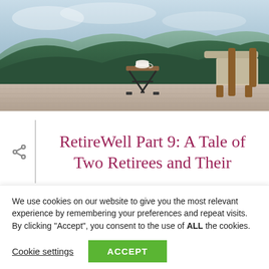[Figure (photo): Scenic outdoor terrace or balcony with a wooden chair and a small table holding a white teacup, overlooking lush green mountains under a hazy sky.]
RetireWell Part 9: A Tale of Two Retirees and Their
We use cookies on our website to give you the most relevant experience by remembering your preferences and repeat visits. By clicking “Accept”, you consent to the use of ALL the cookies.
Cookie settings  ACCEPT